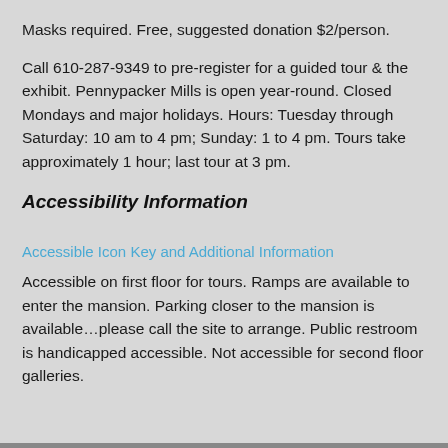Masks required. Free, suggested donation $2/person.
Call 610-287-9349 to pre-register for a guided tour & the exhibit. Pennypacker Mills is open year-round. Closed Mondays and major holidays. Hours: Tuesday through Saturday: 10 am to 4 pm; Sunday: 1 to 4 pm. Tours take approximately 1 hour; last tour at 3 pm.
Accessibility Information
Accessible Icon Key and Additional Information
Accessible on first floor for tours. Ramps are available to enter the mansion. Parking closer to the mansion is available...please call the site to arrange. Public restroom is handicapped accessible. Not accessible for second floor galleries.